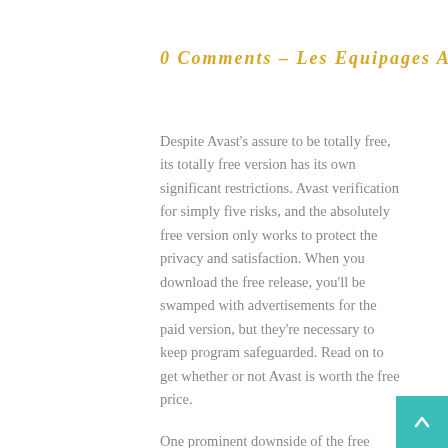0 Comments – Les Equipages Adam's
Despite Avast's assure to be totally free, its totally free version has its own significant restrictions. Avast verification for simply five risks, and the absolutely free version only works to protect the privacy and satisfaction. When you download the free release, you'll be swamped with advertisements for the paid version, but they're necessary to keep program safeguarded. Read on to get whether or not Avast is worth the free price.
One prominent downside of the free version is the sum of resources by using. It uses 65 MB of RAM and fluctuates between two and eight percent of your PROCESSOR. The Avast interface is not hard, with apparent tiles for each and